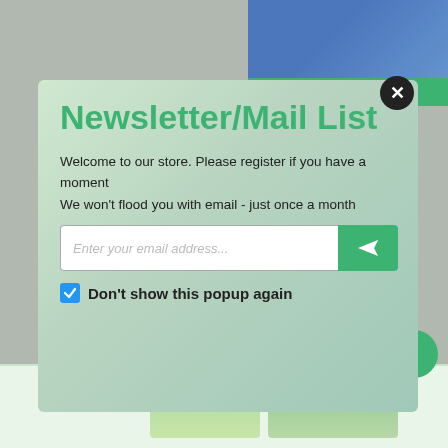[Figure (screenshot): Website popup modal for newsletter/mail list signup over a background showing yoga person and product images. Modal has white semi-transparent background with green title text, body text, email input field with green submit button, and a blue checkbox.]
Newsletter/Mail List
Welcome to our store. Please register if you have a moment
We won't flood you with email - just once a month
Enter your email address...
Don't show this popup again